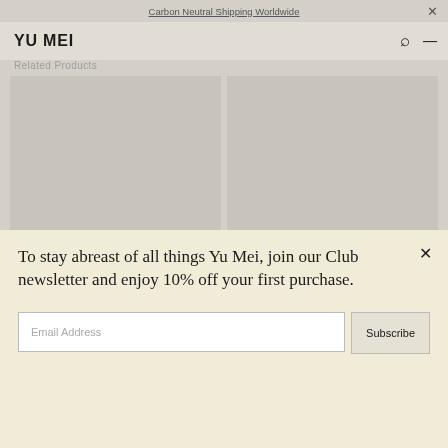Carbon Neutral Shipping Worldwide
YU MEI
Related Products
[Figure (photo): Black leather flat wallet/pouch on grey background]
[Figure (photo): Black leather clutch bag with wrist strap on grey background]
To stay abreast of all things Yu Mei, join our Club newsletter and enjoy 10% off your first purchase.
Email Address
Subscribe